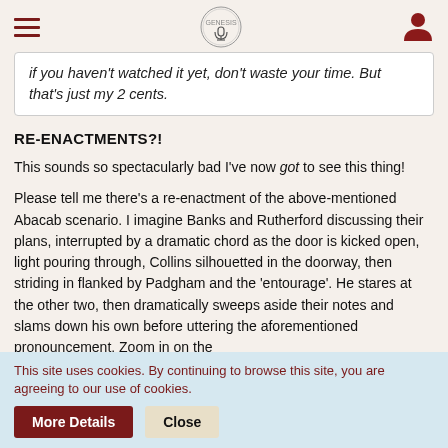[hamburger menu] [logo] [user icon]
if you haven't watched it yet, don't waste your time. But that's just my 2 cents.
RE-ENACTMENTS?!
This sounds so spectacularly bad I've now got to see this thing!
Please tell me there's a re-enactment of the above-mentioned Abacab scenario. I imagine Banks and Rutherford discussing their plans, interrupted by a dramatic chord as the door is kicked open, light pouring through, Collins silhouetted in the doorway, then striding in flanked by Padgham and the 'entourage'. He stares at the other two, then dramatically sweeps aside their notes and slams down his own before uttering the aforementioned pronouncement. Zoom in on the
This site uses cookies. By continuing to browse this site, you are agreeing to our use of cookies.